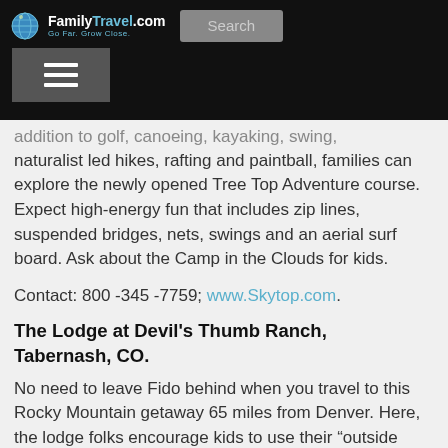FamilyTravel.com — Go Far. Grow Close. | Search
addition to golf, canoeing, kayaking, swing, naturalist led hikes, rafting and paintball, families can explore the newly opened Tree Top Adventure course. Expect high-energy fun that includes zip lines, suspended bridges, nets, swings and an aerial surf board. Ask about the Camp in the Clouds for kids.
Contact: 800 -345 -7759; www.Skytop.com.
The Lodge at Devil's Thumb Ranch, Tabernash, CO.
No need to leave Fido behind when you travel to this Rocky Mountain getaway 65 miles from Denver. Here, the lodge folks encourage kids to use their “outside voices” because that’s where